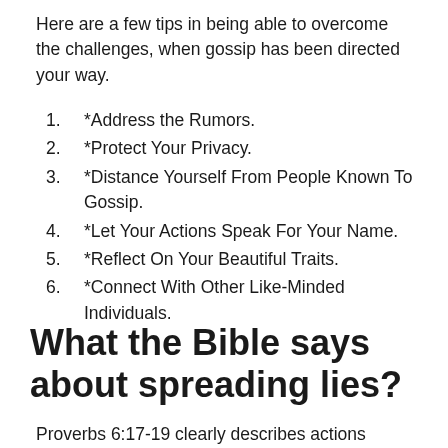Here are a few tips in being able to overcome the challenges, when gossip has been directed your way.
1. *Address the Rumors.
2. *Protect Your Privacy.
3. *Distance Yourself From People Known To Gossip.
4. *Let Your Actions Speak For Your Name.
5. *Reflect On Your Beautiful Traits.
6. *Connect With Other Like-Minded Individuals.
What the Bible says about spreading lies?
Proverbs 6:17-19 clearly describes actions